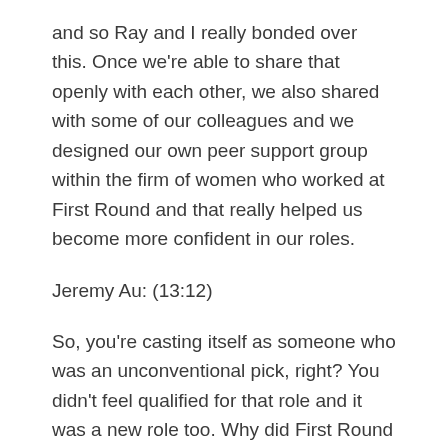and so Ray and I really bonded over this. Once we're able to share that openly with each other, we also shared with some of our colleagues and we designed our own peer support group within the firm of women who worked at First Round and that really helped us become more confident in our roles.
Jeremy Au: (13:12)
So, you're casting itself as someone who was an unconventional pick, right? You didn't feel qualified for that role and it was a new role too. Why did First Round Capital say why Anita, what were they looking for from your perspective?